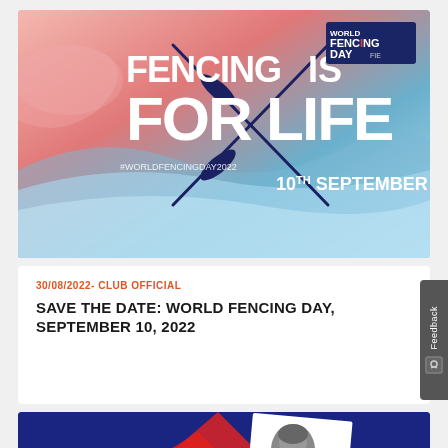[Figure (illustration): World Fencing Day promotional banner with text 'FENCING IS FOR LIFE' on a pink-to-blue gradient background with crossed fencing swords, '#WORLDFENCINGDAY2022', '10TH SEPTEMBER', and 'WORLD FENCING DAY FIE' logo]
30/08/2022- CLUB OFFICIAL
SAVE THE DATE: WORLD FENCING DAY, SEPTEMBER 10, 2022
[Figure (illustration): Red and dark blue promotional graphic reading 'NEW SPEAKER!' with a partial black and white photo of a person, and a reCAPTCHA widget with 'Privacy · Terms']